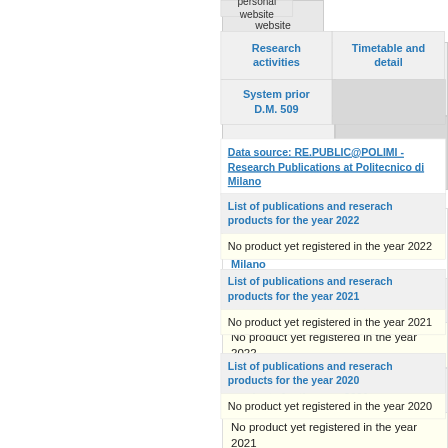personal website
| Research activities | Timetable and detail |
| --- | --- |
| System prior D.M. 509 |  |
Data source: RE.PUBLIC@POLIMI - Research Publications at Politecnico di Milano
List of publications and reserach products for the year 2022
No product yet registered in the year 2022
List of publications and reserach products for the year 2021
No product yet registered in the year 2021
List of publications and reserach products for the year 2020
No product yet registered in the year 2020